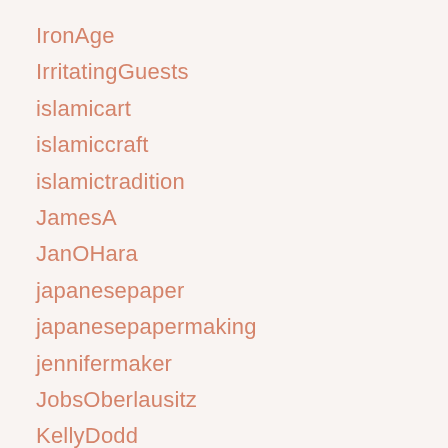IronAge
IrritatingGuests
islamicart
islamiccraft
islamictradition
JamesA
JanOHara
japanesepaper
japanesepapermaking
jennifermaker
JobsOberlausitz
KellyDodd
Keto
KetoCookies